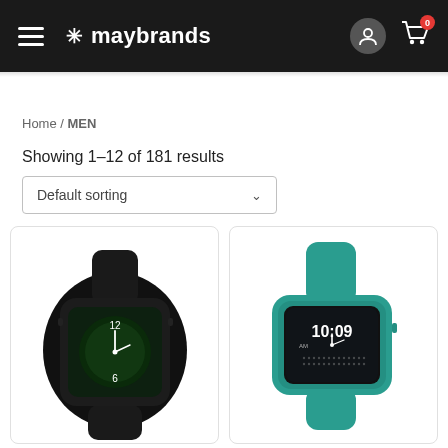maybrands — navigation header with hamburger menu, logo, user icon, and cart icon (badge: 0)
Home / MEN
Showing 1–12 of 181 results
Default sorting
[Figure (photo): Black smartwatch with green digital watch face showing 12 and 6 numerals, black rubber strap, viewed at angle]
[Figure (photo): Teal/green smartwatch with digital watch face showing 10:09, teal rubber strap, viewed front-facing]